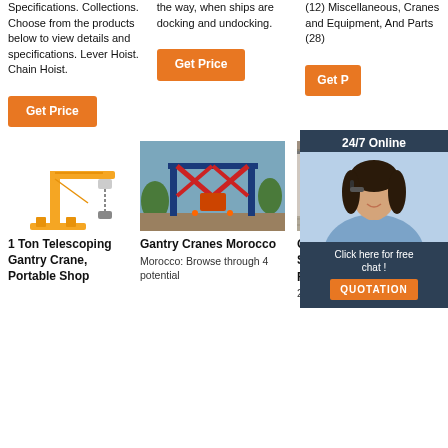Specifications. Collections. Choose from the products below to view details and specifications. Lever Hoist. Chain Hoist.
the way, when ships are docking and undocking.
(12) Miscellaneous, Cranes and Equipment, And Parts (28)
Get Price
Get Price
Get Price
[Figure (infographic): 24/7 Online chat popup with photo of woman wearing headset, dark background with 'Click here for free chat!' text and orange QUOTATION button]
[Figure (illustration): Yellow jib crane illustration with chain hoist]
[Figure (photo): Gantry crane in Morocco, red and blue steel frame structure outdoors on construction site]
[Figure (photo): Gantry crane used for sale resale, indoor industrial crane]
1 Ton Telescoping Gantry Crane, Portable Shop
Gantry Cranes Morocco
Morocco: Browse through 4 potential
Gantry Cranes Used For Sale RESALE
2021-11-